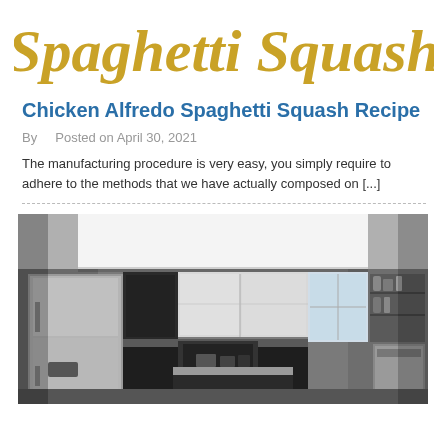[Figure (logo): Spaghetti Squash cursive logo in gold/yellow color]
Chicken Alfredo Spaghetti Squash Recipe
By   Posted on April 30, 2021
The manufacturing procedure is very easy, you simply require to adhere to the methods that we have actually composed on [...]
[Figure (photo): Modern kitchen with dark cabinets, stainless steel appliances, center island, and white upper cabinets]